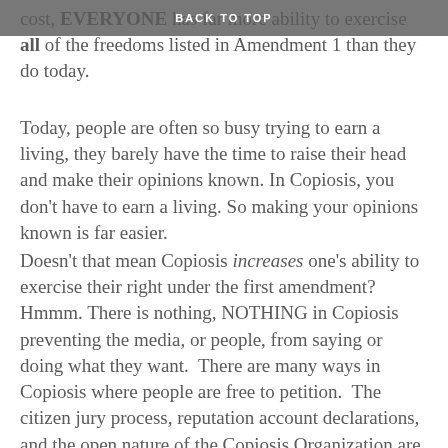BACK TO TOP
cost, EVERYONE has far more ability to exercise all of the freedoms listed in Amendment 1 than they do today.
Today, people are often so busy trying to earn a living, they barely have the time to raise their head and make their opinions known. In Copiosis, you don't have to earn a living. So making your opinions known is far easier.
Doesn't that mean Copiosis increases one's ability to exercise their right under the first amendment? Hmmm. There is nothing, NOTHING in Copiosis preventing the media, or people, from saying or doing what they want. There are many ways in Copiosis where people are free to petition. The citizen jury process, reputation account declarations, and the open nature of the Copiosis Organization are just a few. Again: people can do whatever they want in Copiosis. So, does Copiosis “nullify” the first amendment?